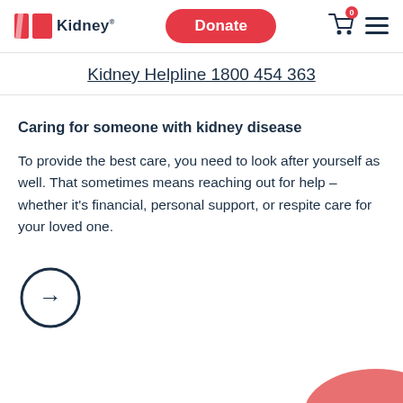[Figure (logo): Kidney organization logo with red graphic and 'Kidney' wordmark]
[Figure (other): Red rounded rectangle Donate button]
[Figure (other): Shopping cart icon with red badge showing 0, and hamburger menu icon]
Kidney Helpline 1800 454 363
Caring for someone with kidney disease
To provide the best care, you need to look after yourself as well. That sometimes means reaching out for help – whether it's financial, personal support, or respite care for your loved one.
[Figure (other): Circle with right arrow icon (navigation/link button)]